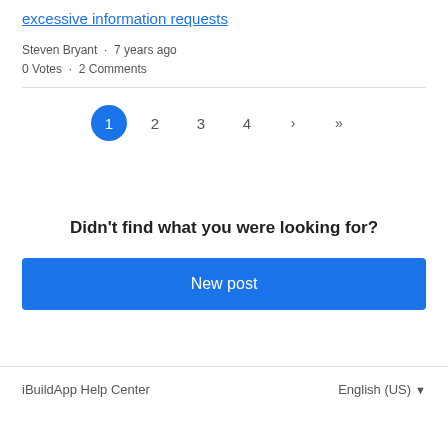excessive information requests
Steven Bryant · 7 years ago
0 Votes · 2 Comments
[Figure (other): Pagination control showing pages 1 (active, blue circle), 2, 3, 4, ›, »]
Didn't find what you were looking for?
New post
iBuildApp Help Center    English (US) ▾